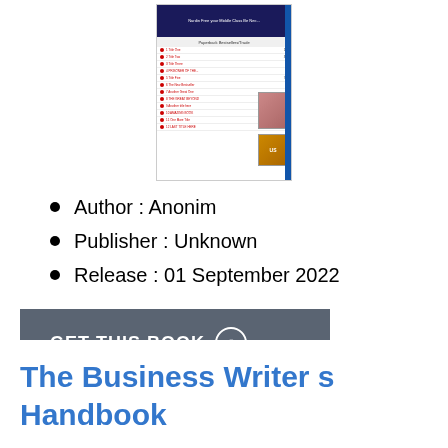[Figure (illustration): Thumbnail image of a book cover showing a Paperback Bestsellers/Trade list page with red bullet points listing book titles, numbers, and small cover images on the right side with a blue spine bar on the far right.]
Author : Anonim
Publisher : Unknown
Release : 01 September 2022
GET THIS BOOK →
The Business Writer s Handbook